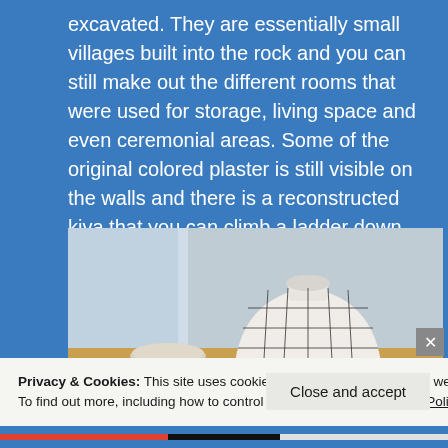excavated. They are essentially small villages built into the rock and you can still make out the different rooms that were used for storage, living space and even ceremonial areas. Some of the original colored plaster is still visible on the walls and there is a reconstructed kiva that you can climb a ladder down into.
[Figure (photo): Photo of a decorated Native American pottery vessel (dome-shaped with geometric black-on-white patterns) displayed in a glass case, with a small bowl and grain/seeds visible nearby.]
Privacy & Cookies: This site uses cookies. By continuing to use this website, you agree to their use.
To find out more, including how to control cookies, see here: Cookie Policy
Close and accept